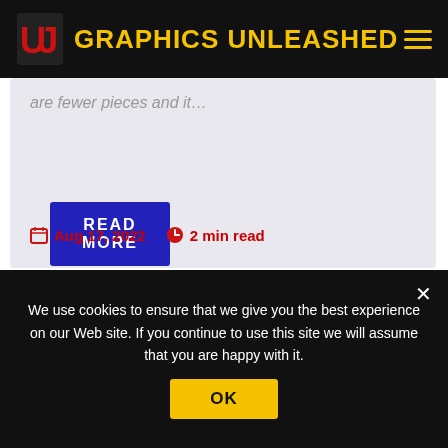GRAPHICS UNLEASHED
are fewer pieces and it…
READ MORE
Aug 17, 2022   2 min read
[Figure (photo): A close-up photo of a corrugated or ridged metallic/plastic surface at an angle, bluish-gray coloring]
We use cookies to ensure that we give you the best experience on our Web site. If you continue to use this site we will assume that you are happy with it.
OK